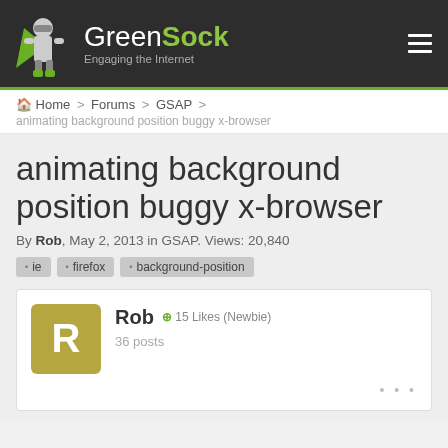GreenSock — Engaging the Internet
Home > Forums > GSAP > animating background position buggy x-browser
animating background position buggy x-browser
By Rob, May 2, 2013 in GSAP. Views: 20,840
ie
firefox
background-position
Rob  15 Likes (Newbie)
36 posts